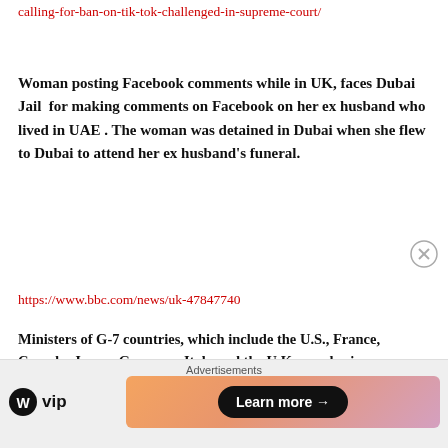calling-for-ban-on-tik-tok-challenged-in-supreme-court/
Woman posting Facebook comments while in UK, faces Dubai Jail for making comments on Facebook on her ex husband who lived in UAE . The woman was detained in Dubai when she flew to Dubai to attend her ex husband's funeral.
https://www.bbc.com/news/uk-47847740
Ministers of G-7 countries, which include the U.S., France, Canada, Japan, Germany, Italy and the U.K., emphasize on fighting cyber crimes .
https://globalnews.ca/news/5136826/g7-ministers-cybercrime-sexual-violence/
[Figure (screenshot): Advertisement bar with WordPress VIP logo on left and a gradient banner with 'Learn more' button on right]